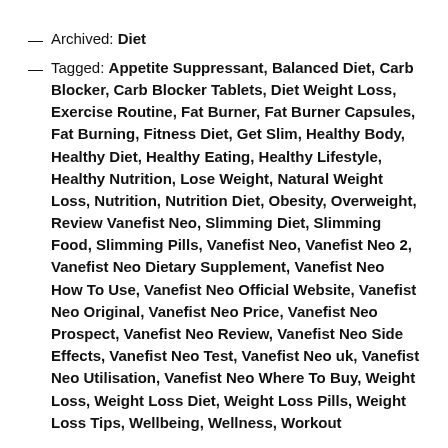— Archived: Diet
— Tagged: Appetite Suppressant, Balanced Diet, Carb Blocker, Carb Blocker Tablets, Diet Weight Loss, Exercise Routine, Fat Burner, Fat Burner Capsules, Fat Burning, Fitness Diet, Get Slim, Healthy Body, Healthy Diet, Healthy Eating, Healthy Lifestyle, Healthy Nutrition, Lose Weight, Natural Weight Loss, Nutrition, Nutrition Diet, Obesity, Overweight, Review Vanefist Neo, Slimming Diet, Slimming Food, Slimming Pills, Vanefist Neo, Vanefist Neo 2, Vanefist Neo Dietary Supplement, Vanefist Neo How To Use, Vanefist Neo Official Website, Vanefist Neo Original, Vanefist Neo Price, Vanefist Neo Prospect, Vanefist Neo Review, Vanefist Neo Side Effects, Vanefist Neo Test, Vanefist Neo uk, Vanefist Neo Utilisation, Vanefist Neo Where To Buy, Weight Loss, Weight Loss Diet, Weight Loss Pills, Weight Loss Tips, Wellbeing, Wellness, Workout